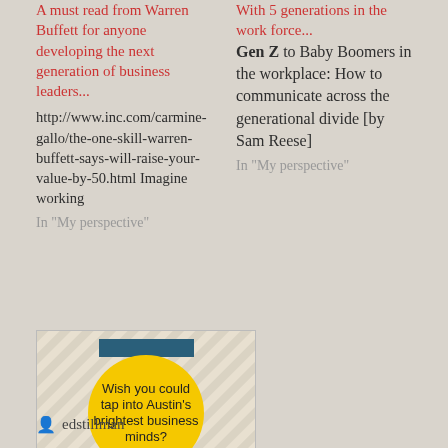A must read from Warren Buffett for anyone developing the next generation of business leaders...
http://www.inc.com/carmine-gallo/the-one-skill-warren-buffett-says-will-raise-your-value-by-50.html Imagine working
In "My perspective"
With 5 generations in the work force...
Gen Z to Baby Boomers in the workplace: How to communicate across the generational divide [by Sam Reese]
In "My perspective"
[Figure (infographic): Advertisement image with yellow circle on diagonal stripe background with text 'Wish you could tap into Austin's brightest business minds? Wednesday' and a teal rectangle at top.]
CEO Optimism for 2015
In "My perspective"
edstillman